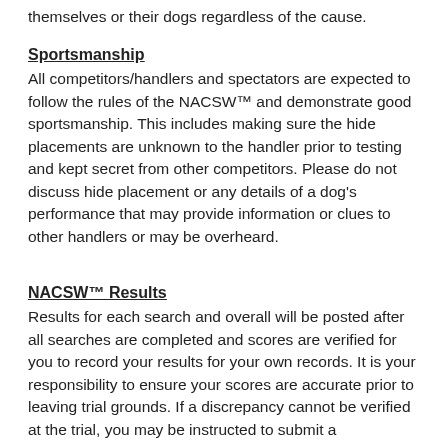themselves or their dogs regardless of the cause.
Sportsmanship
All competitors/handlers and spectators are expected to follow the rules of the NACSW™ and demonstrate good sportsmanship. This includes making sure the hide placements are unknown to the handler prior to testing and kept secret from other competitors. Please do not discuss hide placement or any details of a dog's performance that may provide information or clues to other handlers or may be overheard.
NACSW™ Results
Results for each search and overall will be posted after all searches are completed and scores are verified for you to record your results for your own records. It is your responsibility to ensure your scores are accurate prior to leaving trial grounds. If a discrepancy cannot be verified at the trial, you may be instructed to submit a